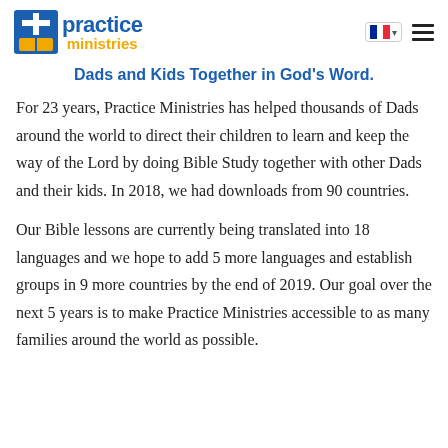[Figure (logo): Practice Ministries logo with blue cross/book icon, blue 'practice' text and gold 'ministries' text]
Dads and Kids Together in God's Word.
For 23 years, Practice Ministries has helped thousands of Dads around the world to direct their children to learn and keep the way of the Lord by doing Bible Study together with other Dads and their kids. In 2018, we had downloads from 90 countries.
Our Bible lessons are currently being translated into 18 languages and we hope to add 5 more languages and establish groups in 9 more countries by the end of 2019. Our goal over the next 5 years is to make Practice Ministries accessible to as many families around the world as possible.